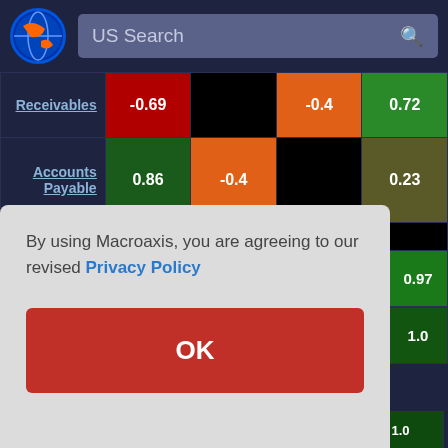US Search
|  | Col1 | Col2 | Col3 | Col4 |
| --- | --- | --- | --- | --- |
| Receivables | -0.69 |  | -0.4 | 0.72 |
| Accounts Payable | 0.86 | -0.4 |  | 0.23 |
| Total Assets | -0.12 | 0.72 | 0.23 |  |
|  |  |  |  | 0.97 |
|  |  |  |  | 1.0 |
| Cash and | -0.21 | 0.77 | -0.15 | 1.0 |
By using Macroaxis, you are agreeing to our revised Privacy Policy
OK